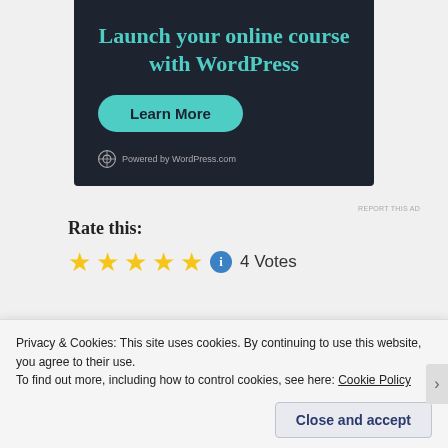[Figure (screenshot): Advertisement banner with dark navy background. Title: 'Launch your online course with WordPress'. Green 'Learn More' pill button. 'Powered by WordPress.com' footer with WordPress logo.]
REPORT THIS AD
Rate this:
[Figure (other): Five gold star rating icons followed by a blue info icon and '4 Votes' text]
Standard | Posted in Knowledge, Life Experiences,
Privacy & Cookies: This site uses cookies. By continuing to use this website, you agree to their use.
To find out more, including how to control cookies, see here: Cookie Policy
Close and accept